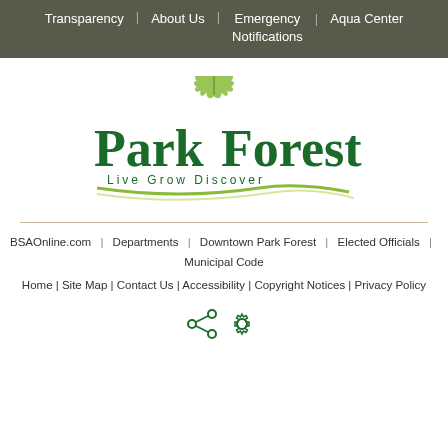Transparency | About Us | Emergency Notifications | Aqua Center
[Figure (logo): Park Forest village logo with maple leaf graphic and tagline 'Live Grow Discover']
BSAOnline.com | Departments | Downtown Park Forest | Elected Officials | Municipal Code
Home | Site Map | Contact Us | Accessibility | Copyright Notices | Privacy Policy